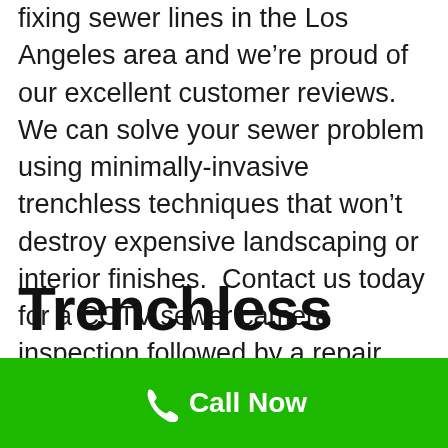fixing sewer lines in the Los Angeles area and we're proud of our excellent customer reviews. We can solve your sewer problem using minimally-invasive trenchless techniques that won't destroy expensive landscaping or interior finishes.  Contact us today for a CCTV sewer camera inspection followed by a repair estimate.
Trenchless
Call Now